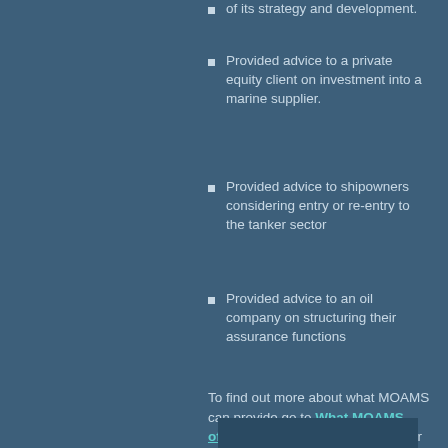of its strategy and development.
Provided advice to a private equity client on investment into a marine supplier.
Provided advice to shipowners considering entry or re-entry to the tanker sector
Provided advice to an oil company on structuring their assurance functions
To find out more about what MOAMS can provide go to What MOAMS offers.. on the tab on the sidebar or by clicking the link.